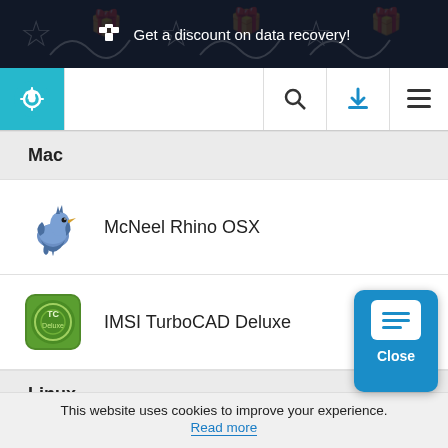Get a discount on data recovery!
[Figure (screenshot): Software download site navigation bar with gear/settings logo, search icon, download icon, and menu icon]
Mac
McNeel Rhino OSX
IMSI TurboCAD Deluxe
Linux
This website uses cookies to improve your experience. Read more